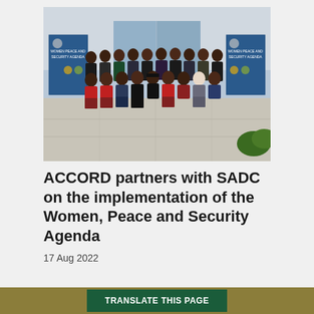[Figure (photo): Group photo of approximately 25 people, men and women, seated and standing in two rows in front of a building entrance. Two SADC/ACCORD banner stands are visible on the left and right sides. The banners reference 'Women Peace and Security Agenda'.]
ACCORD partners with SADC on the implementation of the Women, Peace and Security Agenda
17 Aug 2022
TRANSLATE THIS PAGE